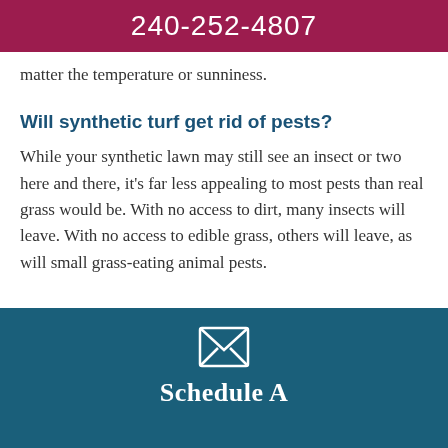240-252-4807
matter the temperature or sunniness.
Will synthetic turf get rid of pests?
While your synthetic lawn may still see an insect or two here and there, it's far less appealing to most pests than real grass would be. With no access to dirt, many insects will leave. With no access to edible grass, others will leave, as will small grass-eating animal pests.
[Figure (illustration): Envelope icon on dark teal background with text 'Schedule A' below]
Schedule A